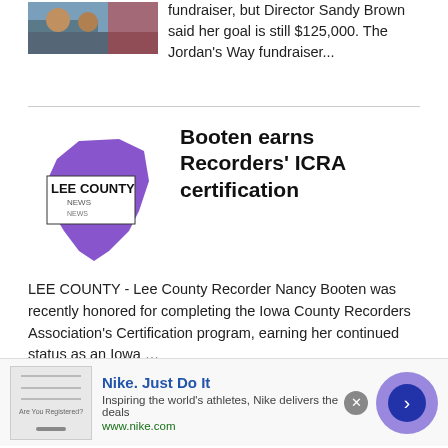[Figure (photo): Partial image of people, cropped at top left]
fundraiser, but Director Sandy Brown said her goal is still $125,000. The Jordan's Way fundraiser...
[Figure (logo): Lee County News logo with purple state of Iowa silhouette]
Booten earns Recorders' ICRA certification
LEE COUNTY - Lee County Recorder Nancy Booten was recently honored for completing the Iowa County Recorders Association's Certification program, earning her continued status as an Iowa …
[Figure (photo): Advertisement banner: Best Law Firms US News Rankings with photo of man and text 'Fighting to get you the compensation']
[Figure (screenshot): Nike ad: Nike. Just Do It - Inspiring the world's athletes, Nike delivers the deals. www.nike.com]